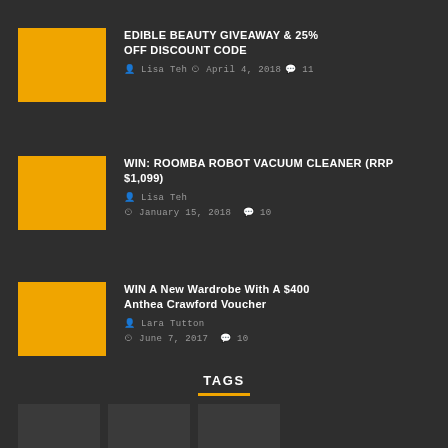[Figure (illustration): Orange placeholder thumbnail for Edible Beauty Giveaway post]
EDIBLE BEAUTY GIVEAWAY & 25% OFF DISCOUNT CODE
Lisa Teh  April 4, 2018  11
[Figure (illustration): Orange placeholder thumbnail for Win: Roomba Robot Vacuum Cleaner post]
WIN: ROOMBA ROBOT VACUUM CLEANER (RRP $1,099)
Lisa Teh  January 15, 2018  10
[Figure (illustration): Orange placeholder thumbnail for WIN A New Wardrobe post]
WIN A New Wardrobe With A $400 Anthea Crawford Voucher
Lara Tutton  June 7, 2017  10
TAGS